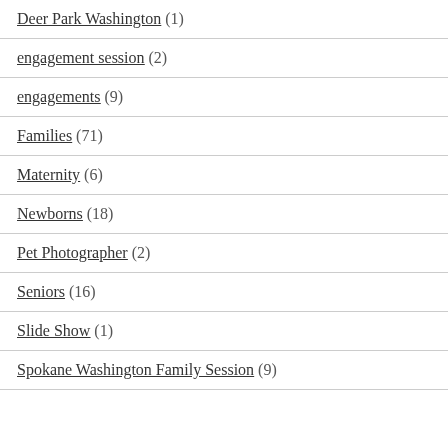Deer Park Washington (1)
engagement session (2)
engagements (9)
Families (71)
Maternity (6)
Newborns (18)
Pet Photographer (2)
Seniors (16)
Slide Show (1)
Spokane Washington Family Session (9)